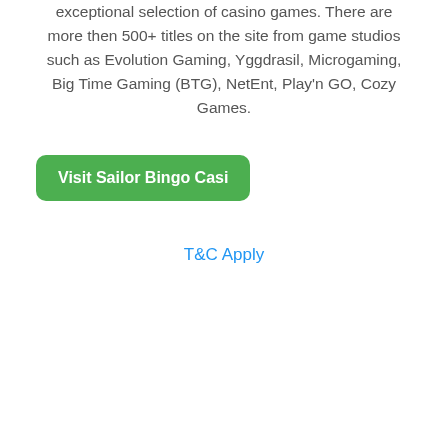exceptional selection of casino games. There are more then 500+ titles on the site from game studios such as Evolution Gaming, Yggdrasil, Microgaming, Big Time Gaming (BTG), NetEnt, Play'n GO, Cozy Games.
Visit Sailor Bingo Casi
T&C Apply